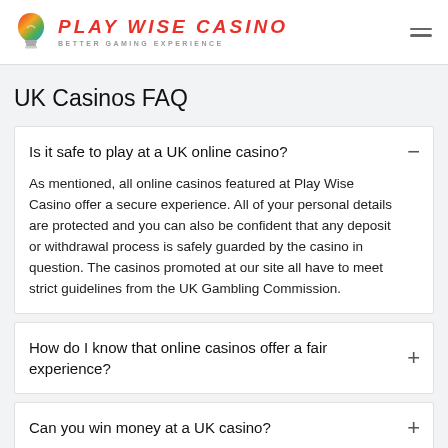PLAY WISE CASINO — BETTER GAMING EXPERIENCE
UK Casinos FAQ
Is it safe to play at a UK online casino?
As mentioned, all online casinos featured at Play Wise Casino offer a secure experience. All of your personal details are protected and you can also be confident that any deposit or withdrawal process is safely guarded by the casino in question. The casinos promoted at our site all have to meet strict guidelines from the UK Gambling Commission.
How do I know that online casinos offer a fair experience?
Can you win money at a UK casino?